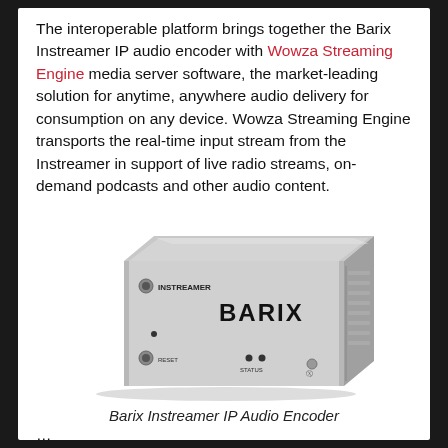The interoperable platform brings together the Barix Instreamer IP audio encoder with Wowza Streaming Engine media server software, the market-leading solution for anytime, anywhere audio delivery for consumption on any device. Wowza Streaming Engine transports the real-time input stream from the Instreamer in support of live radio streams, on-demand podcasts and other audio content.
[Figure (photo): Photo of the Barix Instreamer IP Audio Encoder — a silver rectangular hardware device with INSTREAMER and BARIX labels, reset button, status indicators, and headphone jack visible.]
Barix Instreamer IP Audio Encoder
...